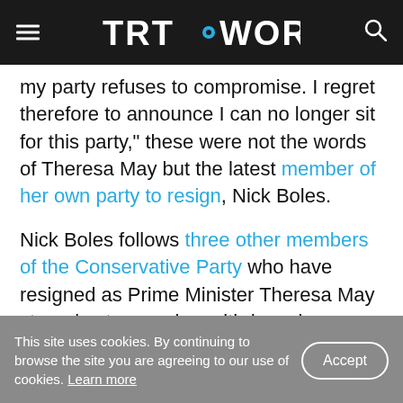TRT WORLD
my party refuses to compromise. I regret therefore to announce I can no longer sit for this party," these were not the words of Theresa May but the latest member of her own party to resign, Nick Boles.
Nick Boles follows three other members of the Conservative Party who have resigned as Prime Minister Theresa May struggles to pass her withdrawal agreement. It also marks a shift in the ideology of the fractious Conservative Party.
This site uses cookies. By continuing to browse the site you are agreeing to our use of cookies. Learn more